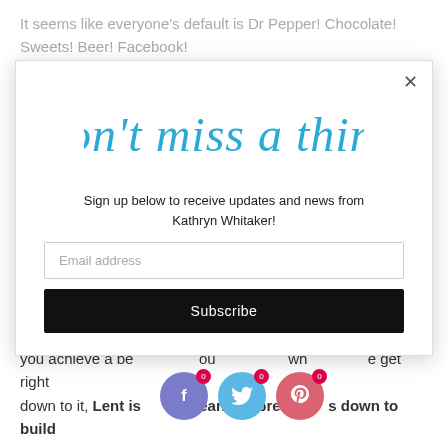It seems like everyone’s default is Dr Pepper! Chocolate! Sweets! Beer! Facebook!
[Figure (other): Modal popup with cursive blue script header 'Don’t miss a thing!', sign-up text, email address input field, and Subscribe button]
you achieve a better soul, when we get right down to it, Lent is meant to break us down to build